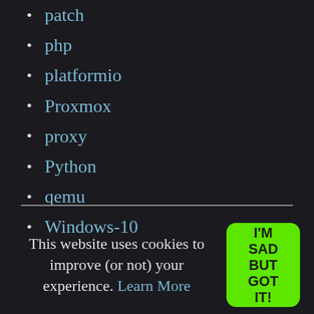patch
php
platformio
Proxmox
proxy
Python
qemu
Windows-10
This website uses cookies to improve (or not) your experience. Learn More
I'M SAD BUT GOT IT!